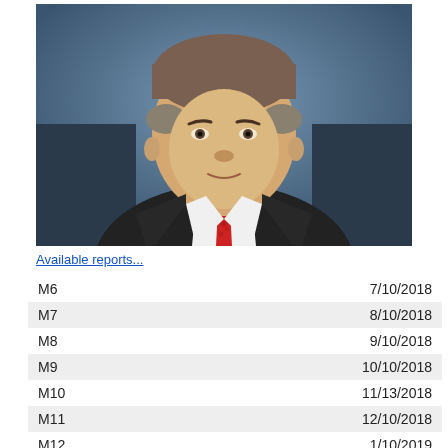[Figure (photo): Professional headshot of a middle-aged man in a dark suit, white dress shirt, and red patterned tie, against a blue-grey background.]
Available reports...
| M6 | 7/10/2018 |
| M7 | 8/10/2018 |
| M8 | 9/10/2018 |
| M9 | 10/10/2018 |
| M10 | 11/13/2018 |
| M11 | 12/10/2018 |
| M12 | 1/10/2019 |
| M12 | 1/10/2019 |